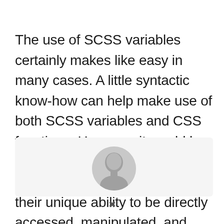The use of SCSS variables certainly makes like easy in many cases. A little syntactic know-how can help make use of both SCSS variables and CSS functions. However, it would be a shame to write off CSS custom properties entirely given their unique ability to be directly accessed, manipulated, and inherited within the browser after compile time.
[Figure (photo): A light gray box containing a partial view of a person's face (head/shoulders) centered near the top of the box, suggesting an author profile photo.]